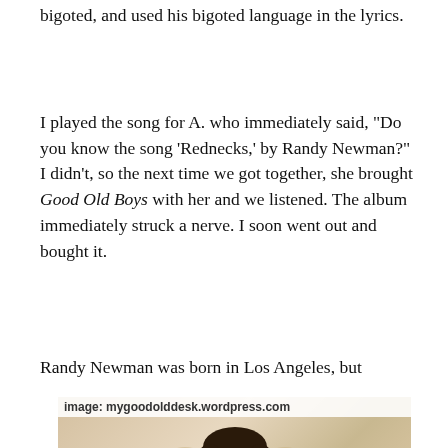bigoted, and used his bigoted language in the lyrics.
I played the song for A. who immediately said, “Do you know the song ‘Rednecks,’ by Randy Newman?” I didn’t, so the next time we got together, she brought Good Old Boys with her and we listened. The album immediately struck a nerve. I soon went out and bought it.
Randy Newman was born in Los Angeles, but
[Figure (photo): Photo of Randy Newman with image credit label: image: mygoodolddesk.wordpress.com]
Privacy & Cookies: This site uses cookies. By continuing to use this website, you agree to their use.
To find out more, including how to control cookies, see here: Cookie Policy
Close and accept